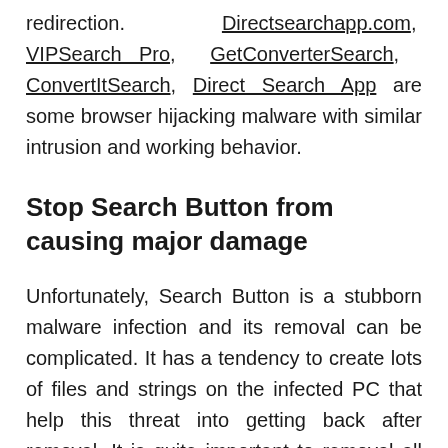redirection. Directsearchapp.com, VIPSearch Pro, GetConverterSearch, ConvertItSearch, Direct Search App are some browser hijacking malware with similar intrusion and working behavior.
Stop Search Button from causing major damage
Unfortunately, Search Button is a stubborn malware infection and its removal can be complicated. It has a tendency to create lots of files and strings on the infected PC that help this threat into getting back after removal. It is quite important to removal all the associated